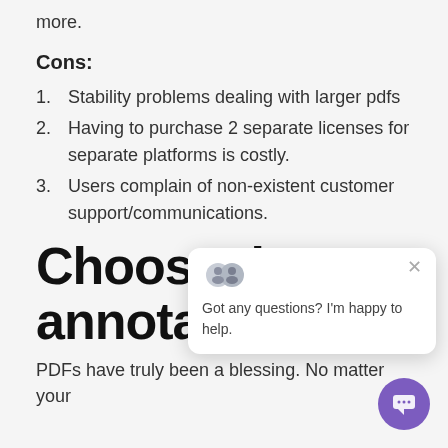more.
Cons:
Stability problems dealing with larger pdfs
Having to purchase 2 separate licenses for separate platforms is costly.
Users complain of non-existent customer support/communications.
Choose the annotation tool
PDFs have truly been a blessing. No matter your